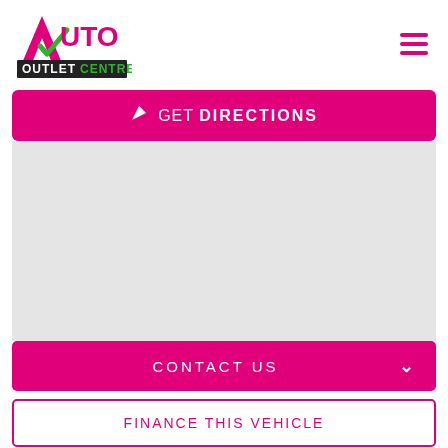[Figure (logo): Auto Outlet Centre logo with pink A and green checkmark, text AUTO OUTLET CENTRE on black background]
[Figure (other): Hamburger menu icon with three pink horizontal lines]
GET DIRECTIONS
[Figure (map): Grey map placeholder area]
CONTACT US
FINANCE THIS VEHICLE